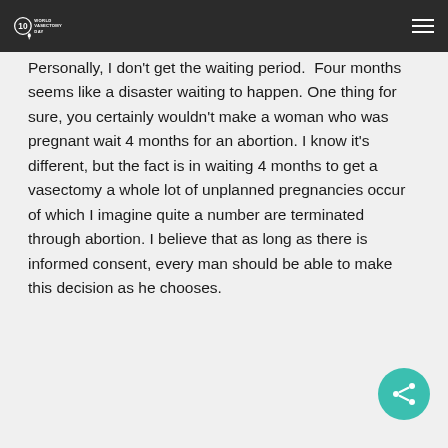World Vasectomy Day
Personally, I don't get the waiting period.  Four months seems like a disaster waiting to happen. One thing for sure, you certainly wouldn't make a woman who was pregnant wait 4 months for an abortion. I know it's different, but the fact is in waiting 4 months to get a vasectomy a whole lot of unplanned pregnancies occur of which I imagine quite a number are terminated through abortion. I believe that as long as there is informed consent, every man should be able to make this decision as he chooses.